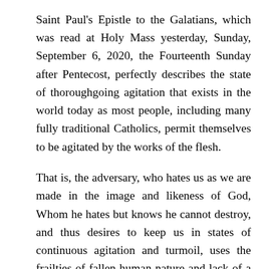Saint Paul's Epistle to the Galatians, which was read at Holy Mass yesterday, Sunday, September 6, 2020, the Fourteenth Sunday after Pentecost, perfectly describes the state of thoroughgoing agitation that exists in the world today as most people, including many fully traditional Catholics, permit themselves to be agitated by the works of the flesh.
That is, the adversary, who hates us as we are made in the image and likeness of God, Whom he hates but knows he cannot destroy, and thus desires to keep us in states of continuous agitation and turmoil, uses the frailties of fallen human nature and lack of a superabundance of Sanctifying and Actual Graces extant in this time of apostasy and betrayal to convince well-meaning people that